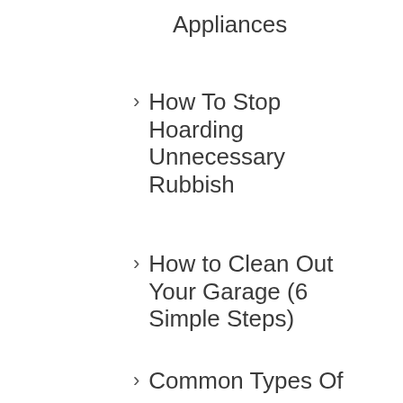Appliances
How To Stop Hoarding Unnecessary Rubbish
How to Clean Out Your Garage (6 Simple Steps)
Common Types Of